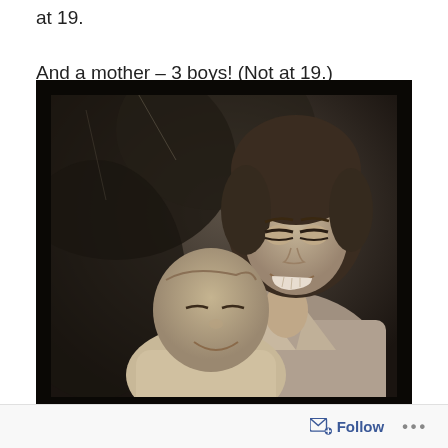at 19.
And a mother – 3 boys! (Not at 19.)
[Figure (photo): Vintage black and white photograph of a young smiling woman holding a baby. The woman has curly dark hair and is looking down at the infant with a wide smile. The baby also appears to be smiling. The background is dark and blurred, suggesting an outdoor setting.]
Follow ...